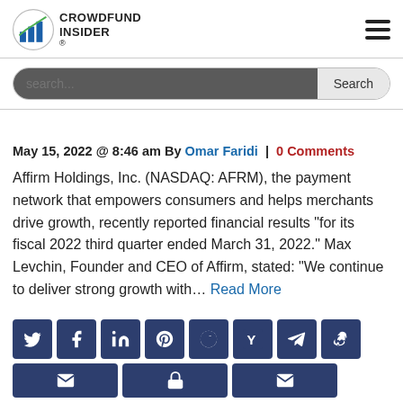[Figure (logo): Crowdfund Insider logo with bar chart icon and text]
[Figure (screenshot): Search bar with dark background and Search button]
May 15, 2022 @ 8:46 am By Omar Faridi | 0 Comments
Affirm Holdings, Inc. (NASDAQ: AFRM), the payment network that empowers consumers and helps merchants drive growth, recently reported financial results “for its fiscal 2022 third quarter ended March 31, 2022.” Max Levchin, Founder and CEO of Affirm, stated: “We continue to deliver strong growth with… Read More
[Figure (infographic): Row of social share icons: Twitter, Facebook, LinkedIn, Pinterest, Reddit, Hacker News, Telegram, Weibo]
[Figure (infographic): Second row of social share icons: email, lock/share, envelope]